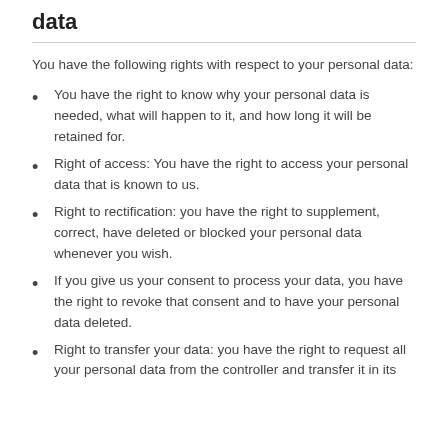data
You have the following rights with respect to your personal data:
You have the right to know why your personal data is needed, what will happen to it, and how long it will be retained for.
Right of access: You have the right to access your personal data that is known to us.
Right to rectification: you have the right to supplement, correct, have deleted or blocked your personal data whenever you wish.
If you give us your consent to process your data, you have the right to revoke that consent and to have your personal data deleted.
Right to transfer your data: you have the right to request all your personal data from the controller and transfer it in its...